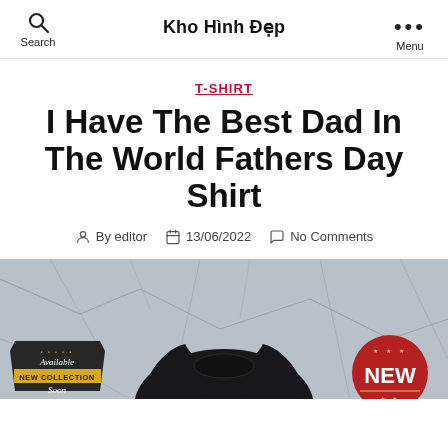Search  Kho Hình Đẹp  Menu
T-SHIRT
I Have The Best Dad In The World Fathers Day Shirt
By editor  13/06/2022  No Comments
[Figure (photo): Black t-shirt displayed on a cracked stone background, with a vintage-style 'Available New Collection Soon' badge on the lower left and a red 'NEW' badge on the lower right]